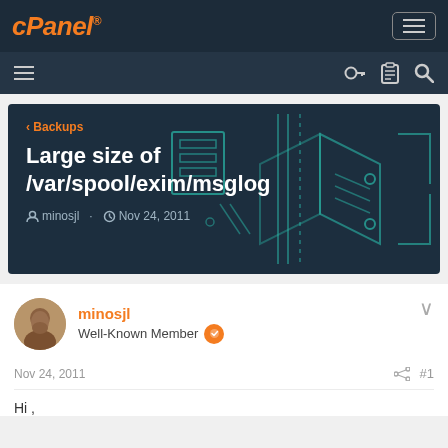cPanel navigation bar with logo and menu button
Secondary navigation bar with hamburger menu and icons
[Figure (screenshot): cPanel forum hero banner with title 'Large size of /var/spool/exim/msglog', breadcrumb '< Backups', author 'minosjl', date 'Nov 24, 2011', with teal circuit-board decorative SVG overlay]
minosjl
Well-Known Member
Nov 24, 2011
#1
Hi ,